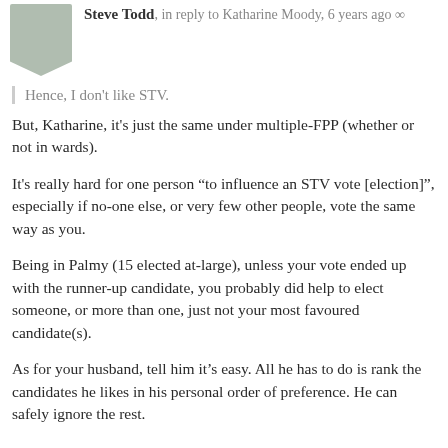Steve Todd, in reply to Katharine Moody, 6 years ago
Hence, I don't like STV.
But, Katharine, it's just the same under multiple-FPP (whether or not in wards).
It's really hard for one person “to influence an STV vote [election]”, especially if no-one else, or very few other people, vote the same way as you.
Being in Palmy (15 elected at-large), unless your vote ended up with the runner-up candidate, you probably did help to elect someone, or more than one, just not your most favoured candidate(s).
As for your husband, tell him it’s easy. All he has to do is rank the candidates he likes in his personal order of preference. He can safely ignore the rest.
Wellington • Since Jul 2013 • 125 posts
Reply
Katharine Moody, in reply to Steve